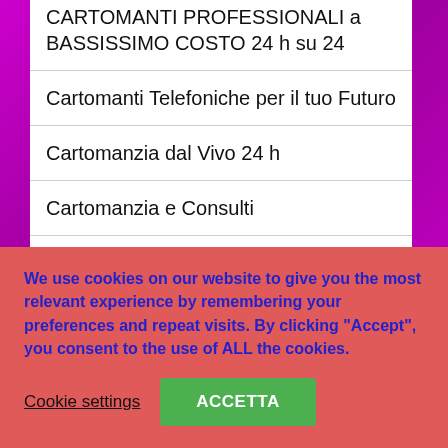CARTOMANTI PROFESSIONALI a BASSISSIMO COSTO 24 h su 24
Cartomanti Telefoniche per il tuo Futuro
Cartomanzia dal Vivo 24 h
Cartomanzia e Consulti
Cartomanzia Professionale
Cartomanzia Specifica dalla Germania
We use cookies on our website to give you the most relevant experience by remembering your preferences and repeat visits. By clicking “Accept”, you consent to the use of ALL the cookies.
Cookie settings
ACCETTA